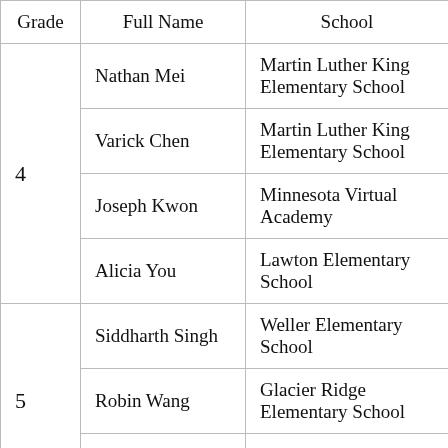| Grade | Full Name | School |
| --- | --- | --- |
| 4 | Nathan Mei | Martin Luther King Elementary School |
|  | Varick Chen | Martin Luther King Elementary School |
|  | Joseph Kwon | Minnesota Virtual Academy |
|  | Alicia You | Lawton Elementary School |
| 5 | Siddharth Singh | Weller Elementary School |
|  | Robin Wang | Glacier Ridge Elementary School |
|  | Ethan Liu | Glacier Ridge Elementary School |